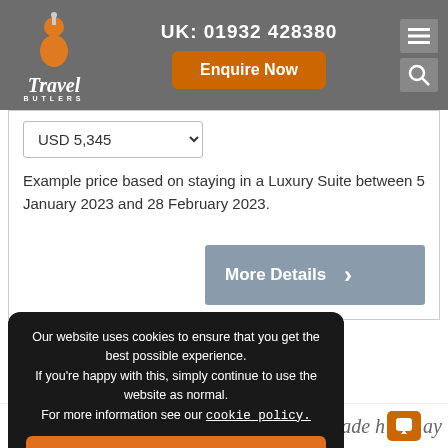Travel Butlers — UK: 01932 428380
USD 5,345
Example price based on staying in a Luxury Suite between 5 January 2023 and 28 February 2023.
More Details
Our website uses cookies to ensure that you get the best possible experience.
If you're happy with this, simply continue to use the website as normal.
For more information see our cookie policy.
Got It!
made holiday